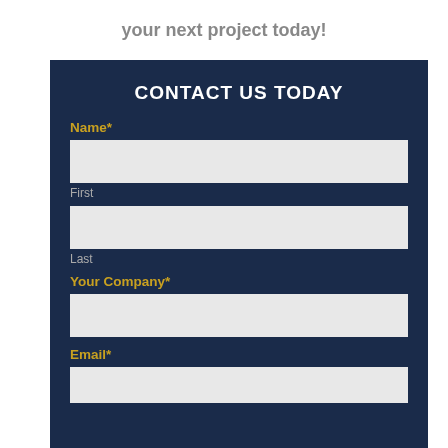your next project today!
CONTACT US TODAY
Name*
First
Last
Your Company*
Email*